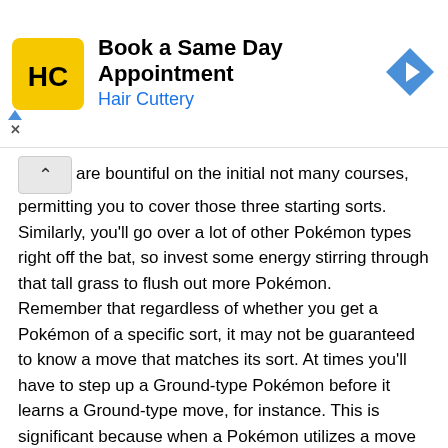[Figure (infographic): Hair Cuttery advertisement banner: yellow square logo with HC text, title 'Book a Same Day Appointment', subtitle 'Hair Cuttery' in blue, blue diamond arrow icon on the right. Ad indicator triangle and X below on the left.]
are bountiful on the initial not many courses, permitting you to cover those three starting sorts. Similarly, you'll go over a lot of other Pokémon types right off the bat, so invest some energy stirring through that tall grass to flush out more Pokémon.
Remember that regardless of whether you get a Pokémon of a specific sort, it may not be guaranteed to know a move that matches its sort. At times you'll have to step up a Ground-type Pokémon before it learns a Ground-type move, for instance. This is significant because when a Pokémon utilizes a move that matches its sort, that move turns out to be all the more impressive, making it much more powerful against a Pokémon with a shortcoming to the move's sort.